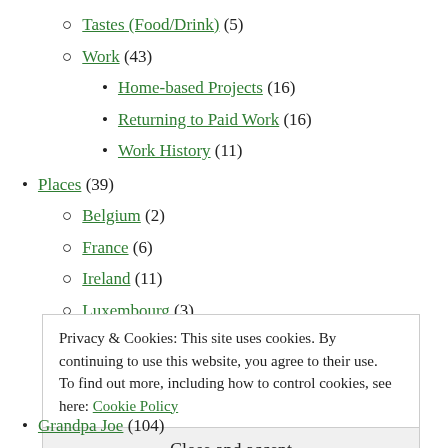Tastes (Food/Drink) (5)
Work (43)
Home-based Projects (16)
Returning to Paid Work (16)
Work History (11)
Places (39)
Belgium (2)
France (6)
Ireland (11)
Luxembourg (3)
Netherlands (4)
Privacy & Cookies: This site uses cookies. By continuing to use this website, you agree to their use.
To find out more, including how to control cookies, see here: Cookie Policy
Close and accept
Grandpa Joe (104)